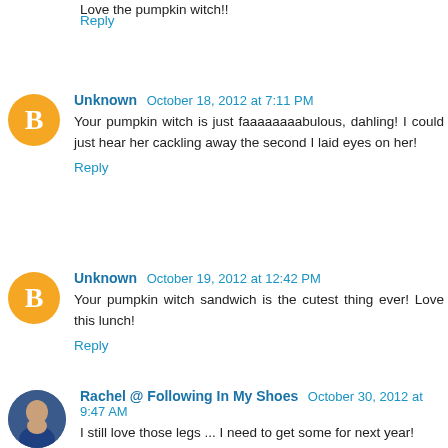Love the pumpkin witch!!
Reply
Unknown  October 18, 2012 at 7:11 PM
Your pumpkin witch is just faaaaaaaabulous, dahling! I could just hear her cackling away the second I laid eyes on her!
Reply
Unknown  October 19, 2012 at 12:42 PM
Your pumpkin witch sandwich is the cutest thing ever! Love this lunch!
Reply
Rachel @ Following In My Shoes  October 30, 2012 at 9:47 AM
I still love those legs ... I need to get some for next year!